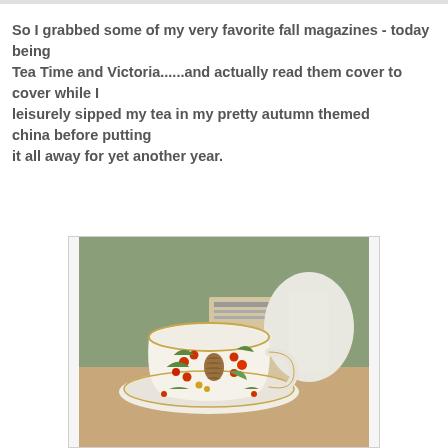So I grabbed some of my very favorite fall magazines - today being Tea Time and Victoria......and actually read them cover to cover while I leisurely sipped my tea in my pretty autumn themed china before putting it all away for yet another year.
[Figure (photo): A close-up photo of an autumn-themed china teacup and saucer decorated with colorful botanical motifs including red berries, pinecones, and green leaves, with a teapot partially visible in the background and what appears to be a magazine.]